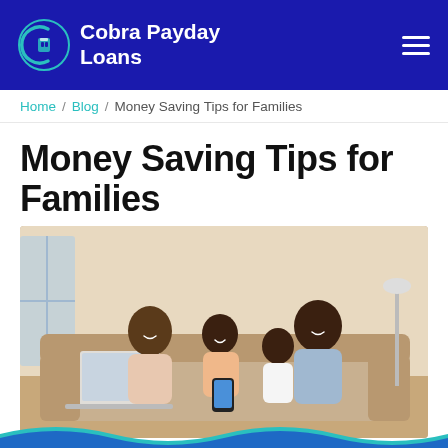Cobra Payday Loans
Home / Blog / Money Saving Tips for Families
Money Saving Tips for Families
[Figure (photo): A happy Black family of four — mother, father, and two children — sitting together on a sofa, smiling and looking at a smartphone, with a laptop open, in a bright living room.]